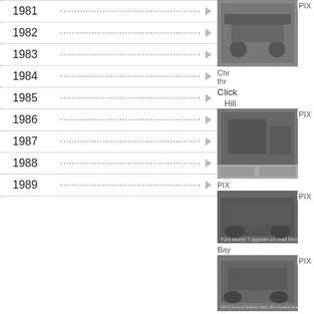1981
1982
1983
1984
1985
1986
1987
1988
1989
[Figure (photo): Vintage car engine/chassis photo (PIX)]
Click
Hill
[Figure (photo): Vintage car interior/engine photo (PIX)]
[Figure (photo): Vintage car side view photo (PIX, Bay)]
[Figure (photo): Vintage car road photo (PIX)]
[Figure (photo): Vintage car photo (PIX, ED, Ann)]
the Ford story furnish
Ford dealer Willis Hal